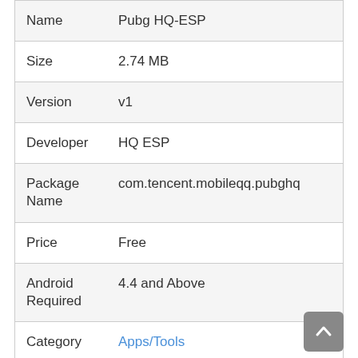| Field | Value |
| --- | --- |
| Name | Pubg HQ-ESP |
| Size | 2.74 MB |
| Version | v1 |
| Developer | HQ ESP |
| Package Name | com.tencent.mobileqq.pubghq |
| Price | Free |
| Android Required | 4.4 and Above |
| Category | Apps/Tools |